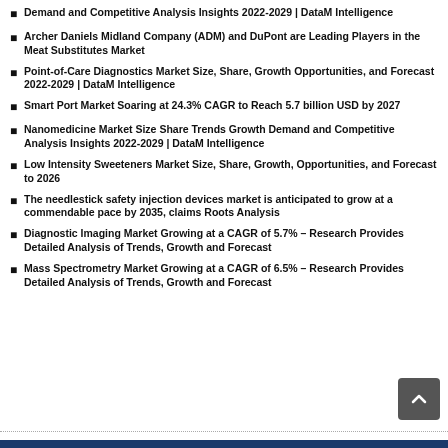Demand and Competitive Analysis Insights 2022-2029 | DataM Intelligence
Archer Daniels Midland Company (ADM) and DuPont are Leading Players in the Meat Substitutes Market
Point-of-Care Diagnostics Market Size, Share, Growth Opportunities, and Forecast 2022-2029 | DataM Intelligence
Smart Port Market Soaring at 24.3% CAGR to Reach 5.7 billion USD by 2027
Nanomedicine Market Size Share Trends Growth Demand and Competitive Analysis Insights 2022-2029 | DataM Intelligence
Low Intensity Sweeteners Market Size, Share, Growth, Opportunities, and Forecast to 2026
The needlestick safety injection devices market is anticipated to grow at a commendable pace by 2035, claims Roots Analysis
Diagnostic Imaging Market Growing at a CAGR of 5.7% – Research Provides Detailed Analysis of Trends, Growth and Forecast
Mass Spectrometry Market Growing at a CAGR of 6.5% – Research Provides Detailed Analysis of Trends, Growth and Forecast